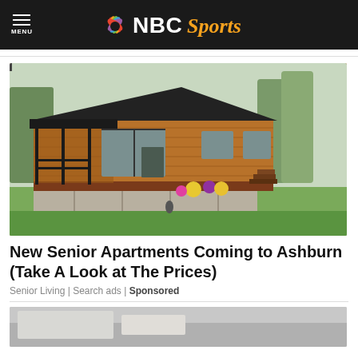NBC Sports
[Figure (photo): Exterior photo of a modern wooden-clad mobile/park home with black roof, large windows, a covered porch area with black railings, brick base, stone patio, flower beds, and trees in the background.]
New Senior Apartments Coming to Ashburn (Take A Look at The Prices)
Senior Living | Search ads | Sponsored
[Figure (photo): Partial view of a second advertisement image, cut off at the bottom of the page.]